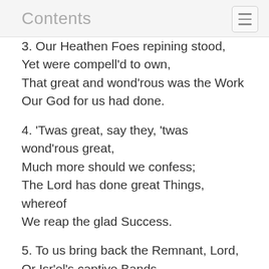Contents
3. Our Heathen Foes repining stood,
Yet were compell'd to own,
That great and wond'rous was the Work
Our God for us had done.
4. 'Twas great, say they, 'twas wond'rous great,
Much more should we confess;
The Lord has done great Things, whereof
We reap the glad Success.
5. To us bring back the Remnant, Lord,
Or Isr'el's captive Bands,
More welcome than refreshing Show'rs
To parch'd and thirsty Lands.
6. That we, whose Work commenc'd in Tears,
May see our Labours thrive,